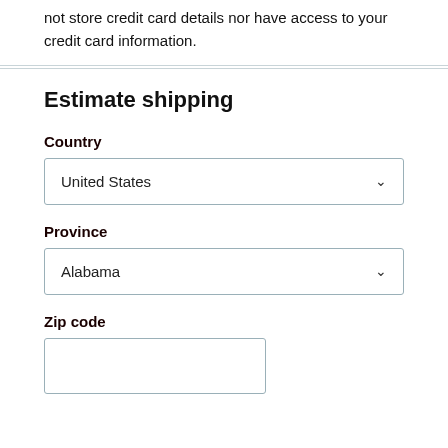not store credit card details nor have access to your credit card information.
Estimate shipping
Country
United States
Province
Alabama
Zip code